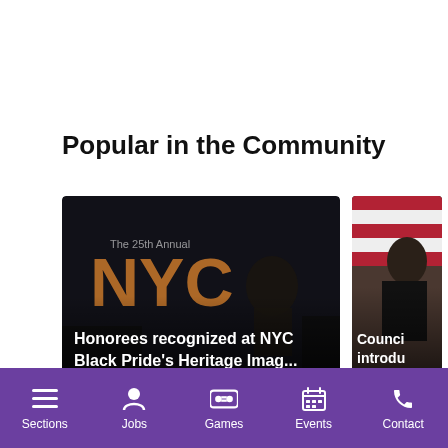Popular in the Community
[Figure (screenshot): News article card: 'Honorees recognized at NYC Black Pride's Heritage Imag...' with user Kimya, 4d ago, comment: 'Please provide the singers name']
[Figure (screenshot): Partially visible news article card: 'Counci... introdu...' with user d, comment: 'If all of t']
Sections  Jobs  Games  Events  Contact